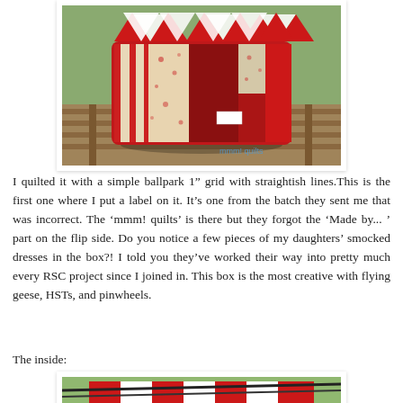[Figure (photo): A red patchwork quilted box/basket sitting on a wooden bench outdoors, featuring flying geese, HSTs, and pinwheel quilt blocks in red and cream/white fabrics. A white label is visible on the side. A watermark reads 'mmm! quilts' in blue text.]
I quilted it with a simple ballpark 1” grid with straightish lines.This is the first one where I put a label on it. It’s one from the batch they sent me that was incorrect. The ‘mmm! quilts’ is there but they forgot the ‘Made by... ’ part on the flip side. Do you notice a few pieces of my daughters’ smocked dresses in the box?! I told you they’ve worked their way into pretty much every RSC project since I joined in. This box is the most creative with flying geese, HSTs, and pinwheels.
The inside:
[Figure (photo): Partial view of the inside of the quilted box, showing red and white striped fabric lining with green grass visible in the background.]